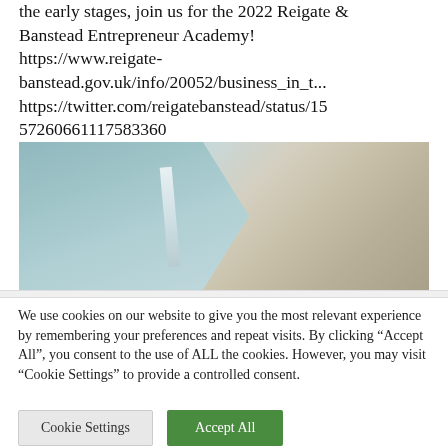the early stages, join us for the 2022 Reigate & Banstead Entrepreneur Academy! https://www.reigate-banstead.gov.uk/info/20052/business_in_t... https://twitter.com/reigatebanstead/status/155726060611175836360
[Figure (photo): Photo showing an interior architectural detail, appearing to show a ceiling or wall junction with blue-grey and beige/tan tones, possibly a building interior.]
We use cookies on our website to give you the most relevant experience by remembering your preferences and repeat visits. By clicking "Accept All", you consent to the use of ALL the cookies. However, you may visit "Cookie Settings" to provide a controlled consent.